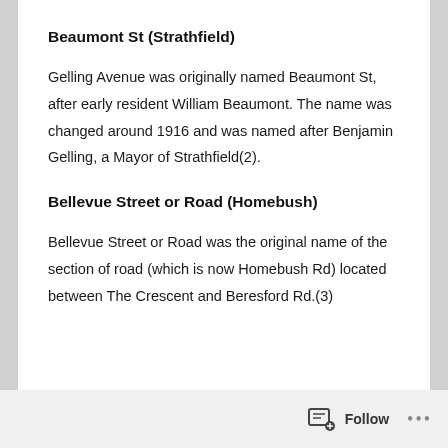Beaumont St (Strathfield)
Gelling Avenue was originally named Beaumont St, after early resident William Beaumont.  The name was changed around 1916 and was named after Benjamin Gelling, a Mayor of Strathfield(2).
Bellevue Street or Road (Homebush)
Bellevue Street or Road was the original name of the section of road (which is now Homebush Rd) located between The Crescent and Beresford Rd.(3)
Follow